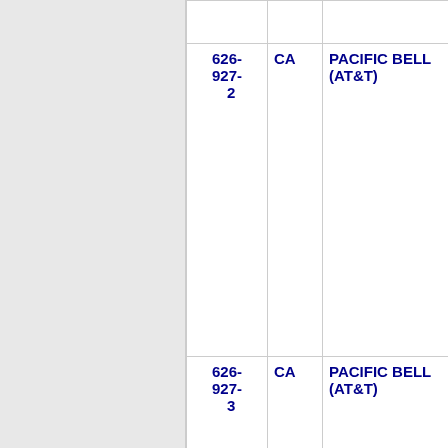| Phone | State | Carrier | Number |
| --- | --- | --- | --- |
| 626-927-2 | CA | PACIFIC BELL (AT&T) | 9740 |
| 626-927-3 | CA | PACIFIC BELL (AT&T) | 9740 |